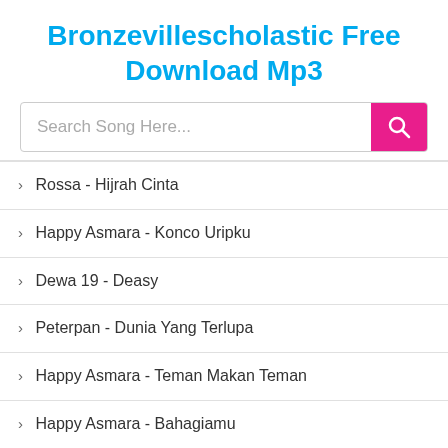Bronzevillescholastic Free Download Mp3
› Rossa - Hijrah Cinta
› Happy Asmara - Konco Uripku
› Dewa 19 - Deasy
› Peterpan - Dunia Yang Terlupa
› Happy Asmara - Teman Makan Teman
› Happy Asmara - Bahagiamu
› Rossa - Cinta Dalam Hidupku
› Armada - Menjemput Jodoh (Instrumental)
› Sheila On 7 - Tunjuk Satu Bintang
› Peterpan - Aku & Bintang
› Peterpan - Aku & Bintang